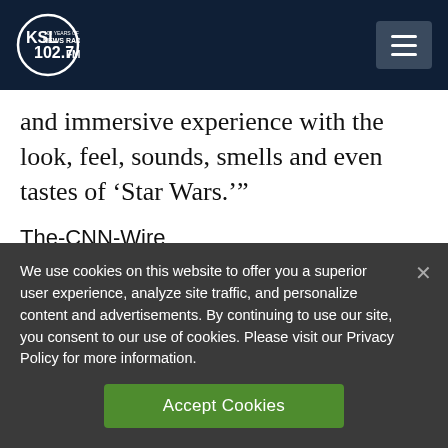KSL NewsRadio 102.7FM
and immersive experience with the look, feel, sounds, smells and even tastes of ‘Star Wars.’”
The-CNN-Wire
™ & © 2019 Cable News Network, Inc., a
We use cookies on this website to offer you a superior user experience, analyze site traffic, and personalize content and advertisements. By continuing to use our site, you consent to our use of cookies. Please visit our Privacy Policy for more information.
Accept Cookies